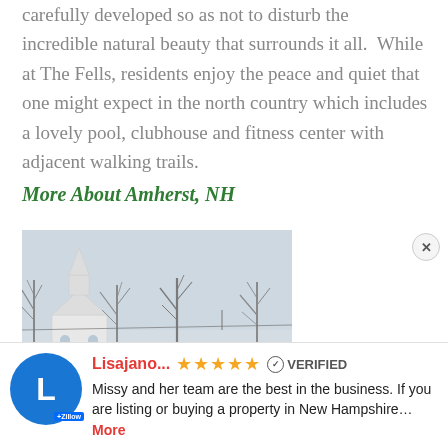carefully developed so as not to disturb the incredible natural beauty that surrounds it all. While at The Fells, residents enjoy the peace and quiet that one might expect in the north country which includes a lovely pool, clubhouse and fitness center with adjacent walking trails.
More About Amherst, NH
[Figure (photo): Winter photo of a New England town with a white church steeple, bare trees, and a statue in the foreground against a grey sky]
Lisajano... ★★★★★ VERIFIED — Missy and her team are the best in the business. If you are listing or buying a property in New Hampshire... More